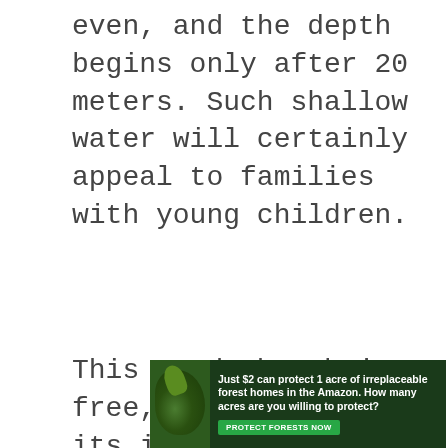even, and the depth begins only after 20 meters. Such shallow water will certainly appeal to families with young children.
This sandy beach is free, but the use of its i...
[Figure (other): Advertisement banner: 'Just $2 can protect 1 acre of irreplaceable forest homes in the Amazon. How many acres are you willing to protect?' with a green 'PROTECT FORESTS NOW' button and a dark forest background image.]